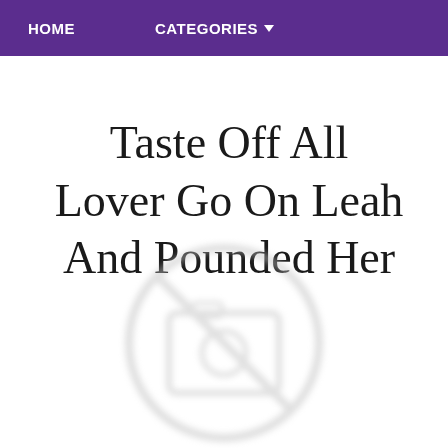HOME   CATEGORIES
Taste Off All Lover Go On Leah And Pounded Her
[Figure (illustration): Blurred placeholder image icon showing a camera/image symbol inside a circle with a line through it, light gray color]